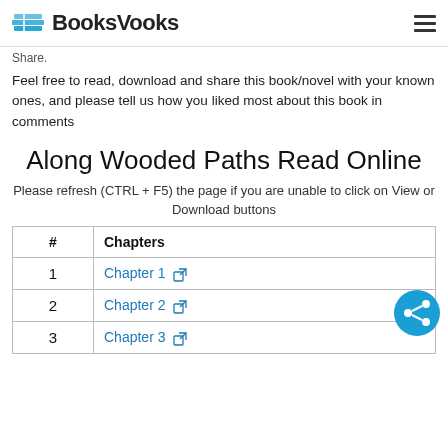BooksVooks
Share.
Feel free to read, download and share this book/novel with your known ones, and please tell us how you liked most about this book in comments
Along Wooded Paths Read Online
Please refresh (CTRL + F5) the page if you are unable to click on View or Download buttons
| # | Chapters |
| --- | --- |
| 1 | Chapter 1 |
| 2 | Chapter 2 |
| 3 | Chapter 3 |